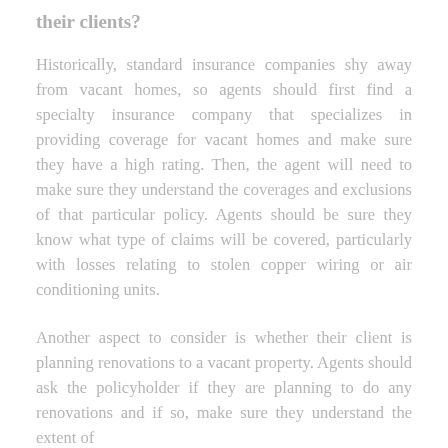their clients?
Historically, standard insurance companies shy away from vacant homes, so agents should first find a specialty insurance company that specializes in providing coverage for vacant homes and make sure they have a high rating. Then, the agent will need to make sure they understand the coverages and exclusions of that particular policy. Agents should be sure they know what type of claims will be covered, particularly with losses relating to stolen copper wiring or air conditioning units.
Another aspect to consider is whether their client is planning renovations to a vacant property. Agents should ask the policyholder if they are planning to do any renovations and if so, make sure they understand the extent of